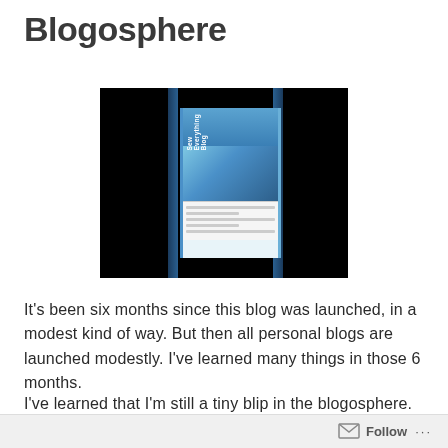Blogosphere
[Figure (photo): A photo of a computer screen in a dark room showing the 'Sew Everything Blog' website with a blue navigation bar and banner image]
It's been six months since this blog was launched, in a modest kind of way. But then all personal blogs are launched modestly. I've learned many things in those 6 months.
I've learned that I'm still a tiny blip in the blogosphere. I'm ecstatic that there are now 49 followers of the Sew
Follow ...